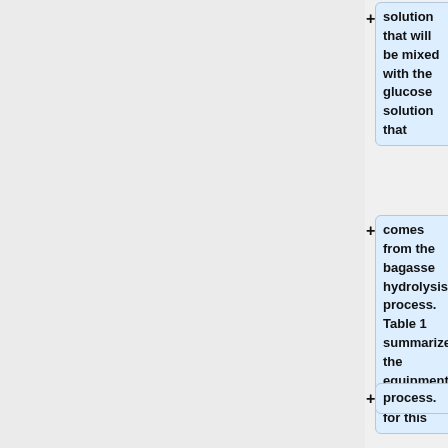solution that will be mixed with the glucose solution that
comes from the bagasse hydrolysis process. Table 1 summarizes the equipment chosen for this
process.
{| class="wikitable"
|+ Table 1: Milling Equipment Summary
! Equipment